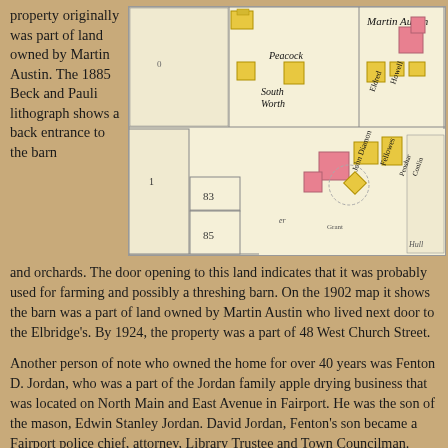property originally was part of land owned by Martin Austin. The 1885 Beck and Pauli lithograph shows a back entrance to the barn
[Figure (map): Historical lithograph map excerpt showing Martin Austin property area with streets, lots numbered 83 and 85, and neighbor names including Peacock, SouthWorth, John Diamond, Fellowes, Penshar, Conlin, and others. Buildings shown in yellow and pink.]
and orchards. The door opening to this land indicates that it was probably used for farming and possibly a threshing barn. On the 1902 map it shows the barn was a part of land owned by Martin Austin who lived next door to the Elbridge's. By 1924, the property was a part of 48 West Church Street.
Another person of note who owned the home for over 40 years was Fenton D. Jordan, who was a part of the Jordan family apple drying business that was located on North Main and East Avenue in Fairport. He was the son of the mason, Edwin Stanley Jordan. David Jordan, Fenton's son became a Fairport police chief, attorney, Library Trustee and Town Councilman.
Queen Anne in Spindlework Style
This home is an outstanding example of a cross-gabled Queen Anne popular between 1880 and 1910, with first level front and